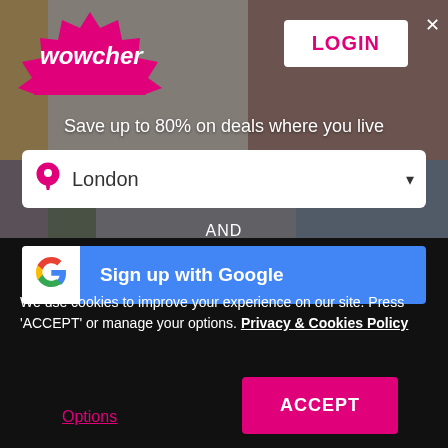[Figure (screenshot): Wowcher website screenshot showing login modal with location selector and Google sign-up option, overlaid on a blurred collage of deal images]
wowcher
LOGIN
Save up to 80% on deals where you live
London
AND
Sign up with Google
We use cookies to improve your experience on our site. Press 'ACCEPT' or manage your options. Privacy & Cookies Policy
Options
ACCEPT